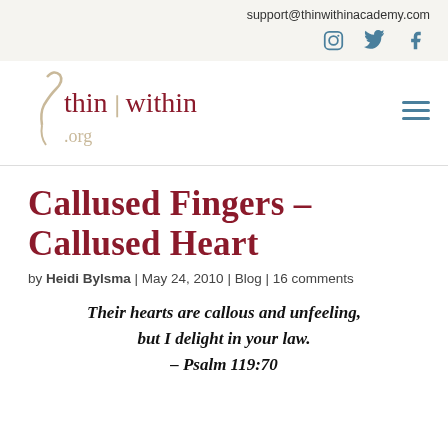support@thinwithinacademy.com
[Figure (logo): Thin Within .org logo with social media icons (Instagram, Twitter, Facebook) and hamburger menu]
Callused Fingers – Callused Heart
by Heidi Bylsma | May 24, 2010 | Blog | 16 comments
Their hearts are callous and unfeeling, but I delight in your law. – Psalm 119:70